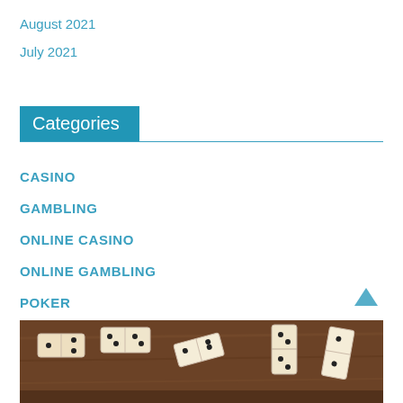August 2021
July 2021
Categories
CASINO
GAMBLING
ONLINE CASINO
ONLINE GAMBLING
POKER
SLOTS
SPORT BETTING
[Figure (photo): Photo of domino tiles scattered on a wooden surface, viewed from above]